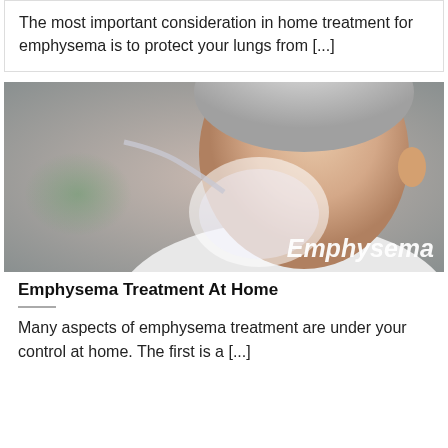The most important consideration in home treatment for emphysema is to protect your lungs from [...]
[Figure (photo): Elderly man wearing an oxygen mask, side profile. Text overlay reads 'Emphysema' in white italic font on the lower right of the image.]
Emphysema Treatment At Home
Many aspects of emphysema treatment are under your control at home.  The first is a [...]